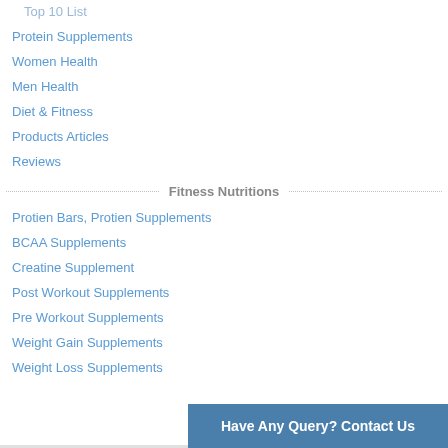Top 10 List
Protein Supplements
Women Health
Men Health
Diet & Fitness
Products Articles
Reviews
Fitness Nutritions
Protien Bars, Protien Supplements
BCAA Supplements
Creatine Supplement
Post Workout Supplements
Pre Workout Supplements
Weight Gain Supplements
Weight Loss Supplements
Have Any Query? Contact Us